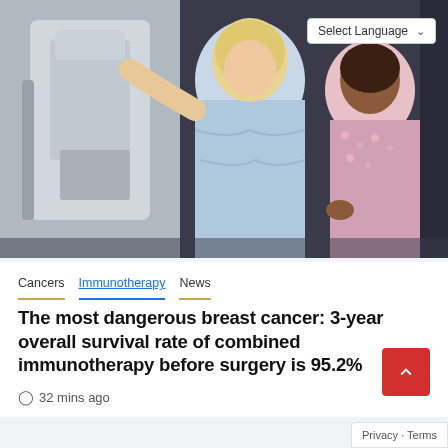[Figure (photo): Two women in a medical setting near a mammography machine. One woman in a blue gown appears to be a patient, and the other in a pink patterned top is a technician or assistant.]
Cancers  Immunotherapy  News
The most dangerous breast cancer: 3-year overall survival rate of combined immunotherapy before surgery is 95.2%
32 mins ago